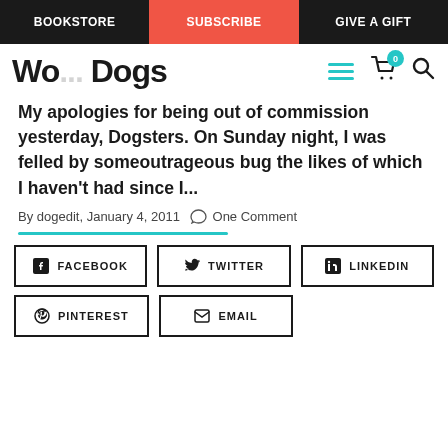BOOKSTORE | SUBSCRIBE | GIVE A GIFT
Wo... Dogs
My apologies for being out of commission yesterday, Dogsters. On Sunday night, I was felled by some outrageous bug the likes of which I haven't had since I...
By dogedit, January 4, 2011  One Comment
FACEBOOK
TWITTER
LINKEDIN
PINTEREST
EMAIL